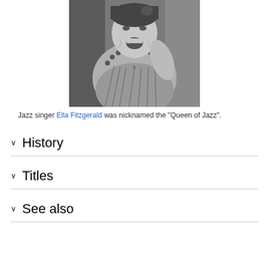[Figure (photo): Black and white photograph of jazz singer Ella Fitzgerald, smiling, wearing a fringed dress with decorative studs on the shoulders and a crown pendant necklace.]
Jazz singer Ella Fitzgerald was nicknamed the "Queen of Jazz".
History
Titles
See also